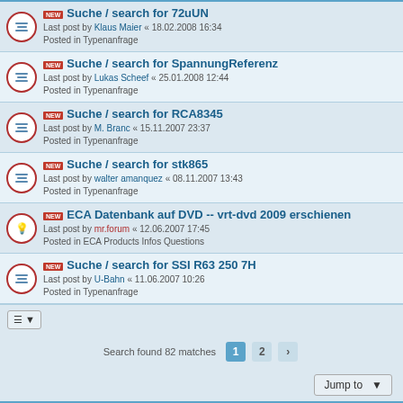Suche / search for 72uUN — Last post by Klaus Maier « 18.02.2008 16:34 — Posted in Typenanfrage
Suche / search for SpannungReferenz — Last post by Lukas Scheef « 25.01.2008 12:44 — Posted in Typenanfrage
Suche / search for RCA8345 — Last post by M. Branc « 15.11.2007 23:37 — Posted in Typenanfrage
Suche / search for stk865 — Last post by walter amanquez « 08.11.2007 13:43 — Posted in Typenanfrage
ECA Datenbank auf DVD -- vrt-dvd 2009 erschienen — Last post by mr.forum « 12.06.2007 17:45 — Posted in ECA Products Infos Questions
Suche / search for SSI R63 250 7H — Last post by U-Bahn « 11.06.2007 10:26 — Posted in Typenanfrage
Search found 82 matches  1  2  >
Jump to
Board index    The team
Powered by phpBB® Forum Software © phpBB Limited